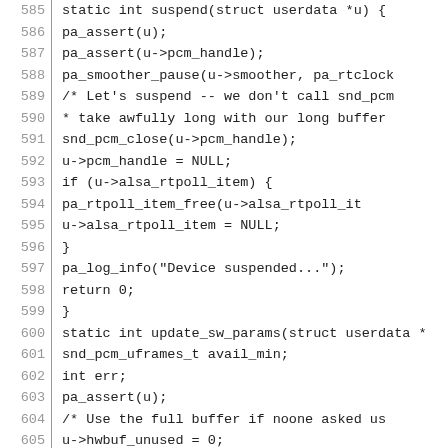[Figure (other): Source code listing in C showing functions suspend() and update_sw_params(), lines 585–614, with line numbers on the left separated by a vertical bar.]